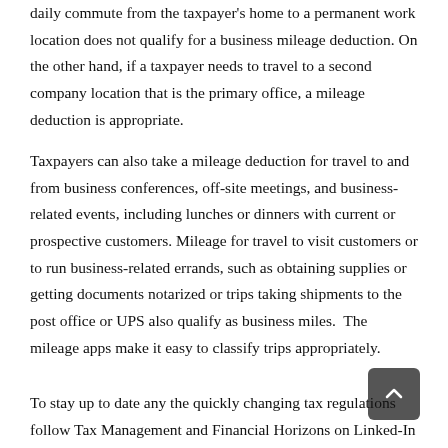daily commute from the taxpayer's home to a permanent work location does not qualify for a business mileage deduction. On the other hand, if a taxpayer needs to travel to a second company location that is the primary office, a mileage deduction is appropriate.
Taxpayers can also take a mileage deduction for travel to and from business conferences, off-site meetings, and business-related events, including lunches or dinners with current or prospective customers. Mileage for travel to visit customers or to run business-related errands, such as obtaining supplies or getting documents notarized or trips taking shipments to the post office or UPS also qualify as business miles.  The mileage apps make it easy to classify trips appropriately.
To stay up to date any the quickly changing tax regulations follow Tax Management and Financial Horizons on Linked-In or visit our